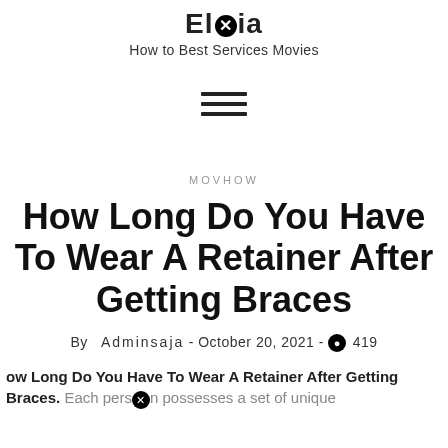Elbia — How to Best Services Movies
[Figure (other): Hamburger menu icon (three horizontal lines)]
MOVHOW
How Long Do You Have To Wear A Retainer After Getting Braces
By Adminsaja - October 20, 2021 - 419 views
How Long Do You Have To Wear A Retainer After Getting Braces. Each person possesses a set of unique